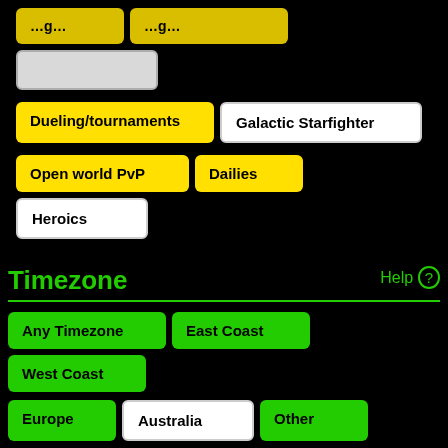Dueling/tournaments
Galactic Starfighter
Open world PvP
Dailies
Heroics
Timezone
Help ❓
Any Timezone
East Coast
West Coast
Europe
Australia
Other
Guild Name Search
Help ❓
🔍 Search
All guilds Australian